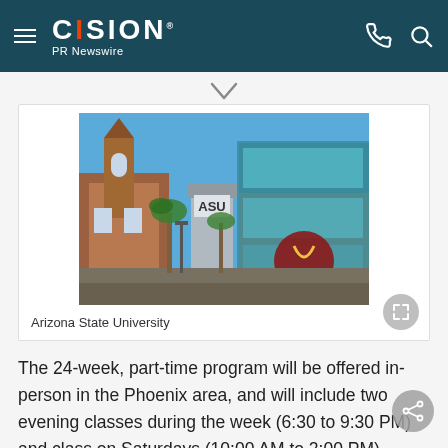CISION PR Newswire
[Figure (photo): Arizona State University campus photo showing ASU sign, church, and modern building with fork logo]
Arizona State University
The 24-week, part-time program will be offered in-person in the Phoenix area, and will include two evening classes during the week (6:30 to 9:30 PM) and class on Saturdays (10:00 AM to 2:00 PM). Enrollment is now open at bootcamp.cpe.asu.edu.